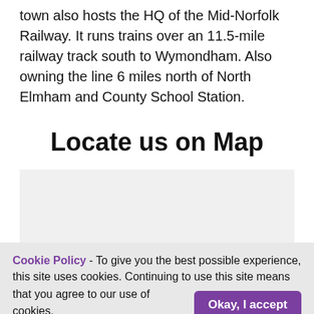town also hosts the HQ of the Mid-Norfolk Railway. It runs trains over an 11.5-mile railway track south to Wymondham. Also owning the line 6 miles north of North Elmham and County School Station.
Locate us on Map
[Figure (map): Map placeholder area showing a grey/light background where a map would be embedded]
Cookie Policy - To give you the best possible experience, this site uses cookies. Continuing to use this site means that you agree to our use of cookies. [Okay, I accept button]